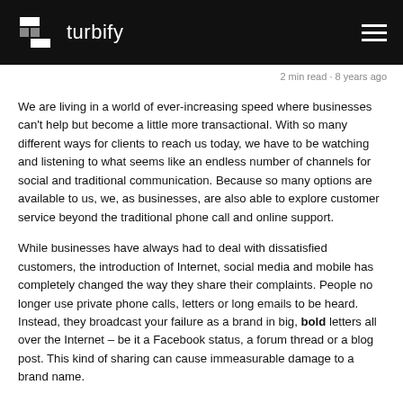turbify
2 min read · 8 years ago
We are living in a world of ever-increasing speed where businesses can't help but become a little more transactional. With so many different ways for clients to reach us today, we have to be watching and listening to what seems like an endless number of channels for social and traditional communication. Because so many options are available to us, we, as businesses, are also able to explore customer service beyond the traditional phone call and online support.
While businesses have always had to deal with dissatisfied customers, the introduction of Internet, social media and mobile has completely changed the way they share their complaints. People no longer use private phone calls, letters or long emails to be heard. Instead, they broadcast your failure as a brand in big, bold letters all over the Internet – be it a Facebook status, a forum thread or a blog post. This kind of sharing can cause immeasurable damage to a brand name.